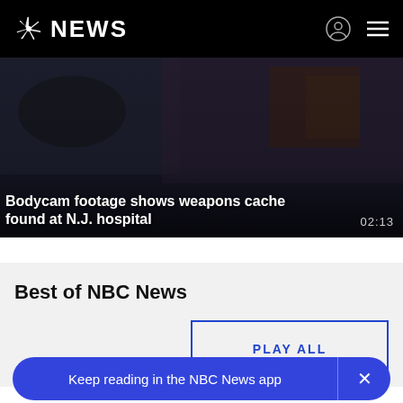NBC NEWS
[Figure (screenshot): Dark video thumbnail showing bodycam footage with text overlay: 'Bodycam footage shows weapons cache found at N.J. hospital' and duration '02:13']
Bodycam footage shows weapons cache found at N.J. hospital
Best of NBC News
PLAY ALL
Keep reading in the NBC News app